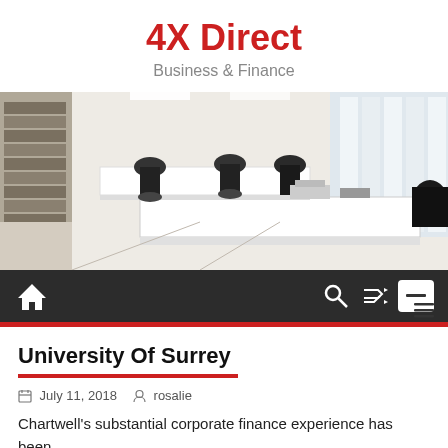4X Direct
Business & Finance
[Figure (photo): Office interior with white desks, black chairs, bookshelves on the left, and bright windows with white curtains on the right.]
Home | Search | Shuffle | Menu
University Of Surrey
July 11, 2018   rosalie
Chartwell's substantial corporate finance experience has been